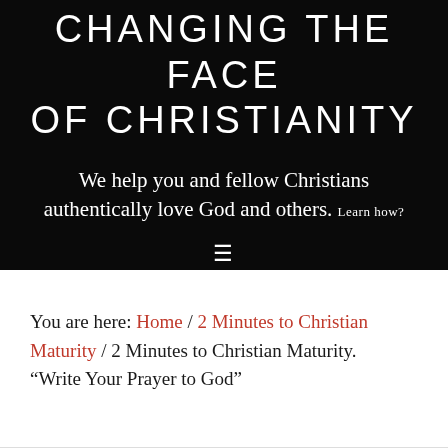CHANGING THE FACE OF CHRISTIANITY
We help you and fellow Christians authentically love God and others. Learn how?
You are here: Home / 2 Minutes to Christian Maturity / 2 Minutes to Christian Maturity. “Write Your Prayer to God”